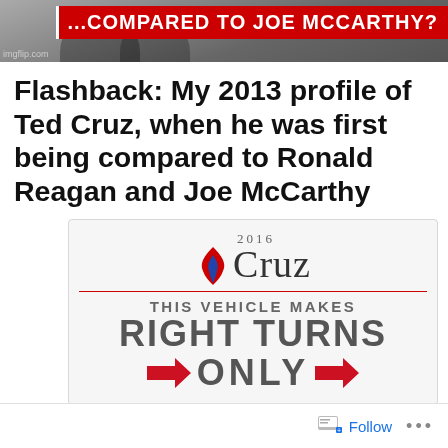[Figure (photo): Top meme image with dark background photo and red banner text reading '...COMPARED TO JOE McCARTHY?' with imgflip.com watermark]
Flashback: My 2013 profile of Ted Cruz, when he was first being compared to Ronald Reagan and Joe McCarthy
[Figure (illustration): Cruz 2016 campaign bumper sticker parody: 'THIS VEHICLE MAKES RIGHT TURNS ONLY' with red arrows on gray background]
Follow   ...